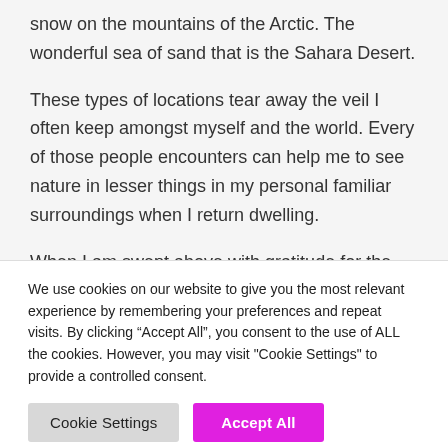snow on the mountains of the Arctic. The wonderful sea of sand that is the Sahara Desert.
These types of locations tear away the veil I often keep amongst myself and the world. Every of those people encounters can help me to see nature in lesser things in my personal familiar surroundings when I return dwelling.
When I am swept above with gratitude for the point that I live in a earth that can present me with this kind of
We use cookies on our website to give you the most relevant experience by remembering your preferences and repeat visits. By clicking “Accept All”, you consent to the use of ALL the cookies. However, you may visit "Cookie Settings" to provide a controlled consent.